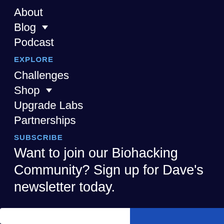About
Blog ▾
Podcast
EXPLORE
Challenges
Shop ▾
Upgrade Labs
Partnerships
SUBSCRIBE
Want to join our Biohacking Community? Sign up for Dave's newsletter today.